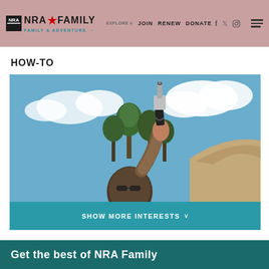NRA FAMILY | EXPLORE | JOIN | RENEW | DONATE | FAMILY & ADVENTURE
HOW-TO
[Figure (photo): Person holding up a silver/chrome pistol aimed toward the sky, outdoors with trees and blue sky with clouds in background. Person wearing sunglasses visible at bottom.]
SHOW MORE INTERESTS
Get the best of NRA Family